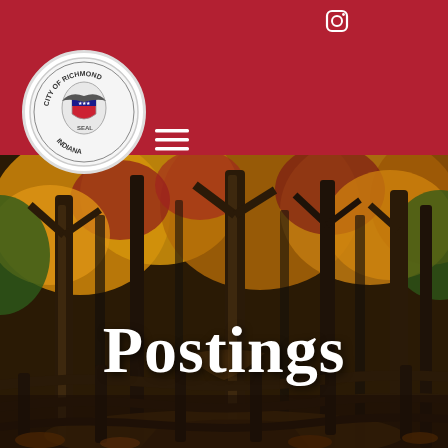City of Richmond Indiana website header with social media icons, city seal, search bar, and navigation menu
[Figure (photo): Autumn forest scene with colorful yellow, red, and green foliage, tall trees, and a wooden split-rail fence in the foreground, serving as a hero banner background]
Postings